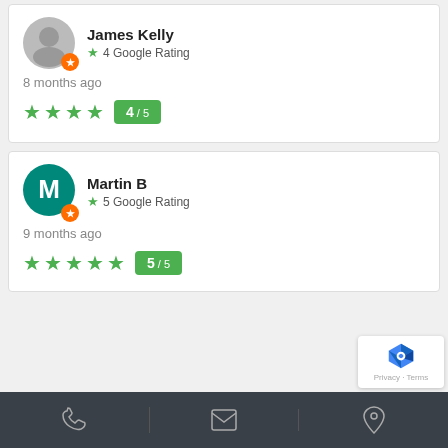James Kelly
4 Google Rating
8 months ago
4/5
Martin B
5 Google Rating
9 months ago
5/5
Phone | Email | Location